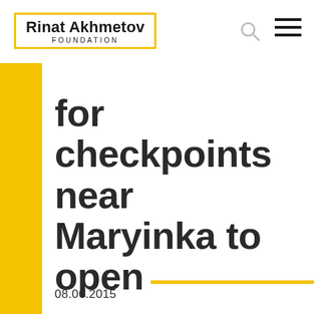Rinat Akhmetov FOUNDATION
for checkpoints near Maryinka to open
08.06.2015